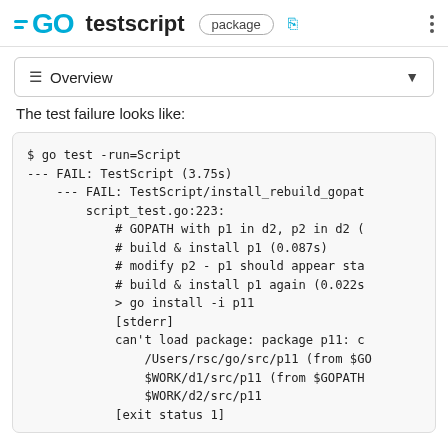GO testscript package
The test failure looks like:
[Figure (screenshot): Code block showing Go test failure output for TestScript/install_rebuild_gopath with lines: $ go test -run=Script, --- FAIL: TestScript (3.75s), --- FAIL: TestScript/install_rebuild_gopath, script_test.go:223:, # GOPATH with p1 in d2, p2 in d2, # build & install p1 (0.087s), # modify p2 - p1 should appear stale, # build & install p1 again (0.022s), > go install -i p11, [stderr], can't load package: package p11:, /Users/rsc/go/src/p11 (from $GO..., $WORK/d1/src/p11 (from $GOPATH..., $WORK/d2/src/p11, [exit status 1]]